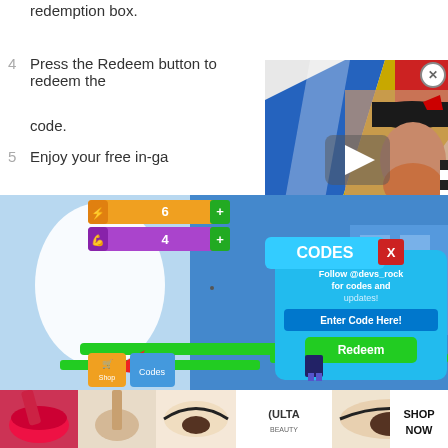redemption box.
4  Press the Redeem button to redeem the code.
5  Enjoy your free in-ga…
[Figure (screenshot): Video overlay thumbnail showing a man in a black cap with a geometric background, with a play button and close X button]
[Figure (screenshot): Roblox game screenshot showing a CODES dialog box with 'Follow @devs_rock for codes and updates!', 'Enter Code Here!' input field and 'Redeem' green button, plus in-game UI elements including a shopping cart button, Codes button, and counters showing 6 and 4]
[Figure (screenshot): Advertisement banner at bottom showing makeup/beauty images, Ulta Beauty logo, and SHOP NOW text]